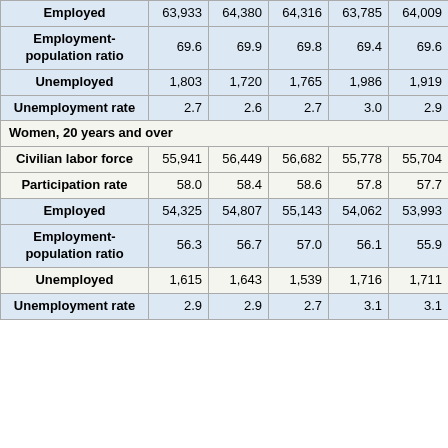|  | Col1 | Col2 | Col3 | Col4 | Col5 |
| --- | --- | --- | --- | --- | --- |
| Employed | 63,933 | 64,380 | 64,316 | 63,785 | 64,009 |
| Employment-population ratio | 69.6 | 69.9 | 69.8 | 69.4 | 69.6 |
| Unemployed | 1,803 | 1,720 | 1,765 | 1,986 | 1,919 |
| Unemployment rate | 2.7 | 2.6 | 2.7 | 3.0 | 2.9 |
| Women, 20 years and over |  |  |  |  |  |
| Civilian labor force | 55,941 | 56,449 | 56,682 | 55,778 | 55,704 |
| Participation rate | 58.0 | 58.4 | 58.6 | 57.8 | 57.7 |
| Employed | 54,325 | 54,807 | 55,143 | 54,062 | 53,993 |
| Employment-population ratio | 56.3 | 56.7 | 57.0 | 56.1 | 55.9 |
| Unemployed | 1,615 | 1,643 | 1,539 | 1,716 | 1,711 |
| Unemployment rate | 2.9 | 2.9 | 2.7 | 3.1 | 3.1 |